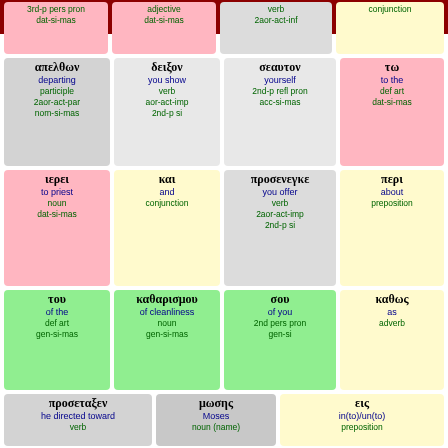Luke 5
[Figure (other): Greek word study grid showing Greek words with English meanings and grammatical analysis for Luke 5. Row 1 (partial): 3rd-p pers pron dat-si-mas | adjective dat-si-mas | verb 2aor-act-inf | conjunction. Row 2: απελθων departing participle 2aor-act-par nom-si-mas | δειξον you show verb aor-act-imp 2nd-p si | σεαυτον yourself 2nd-p refl pron acc-si-mas | τω to the def art dat-si-mas. Row 3: ιερει to priest noun dat-si-mas | και and conjunction | προσενεγκε you offer verb 2aor-act-imp 2nd-p si | περι about preposition. Row 4: του of the def art gen-si-mas | καθαρισμου of cleanliness noun gen-si-mas | σου of you 2nd pers pron gen-si | καθως as adverb. Row 5 (partial): προσεταξεν he directed toward verb | μωσης Moses noun (name) | εις in(to)/un(to) preposition]